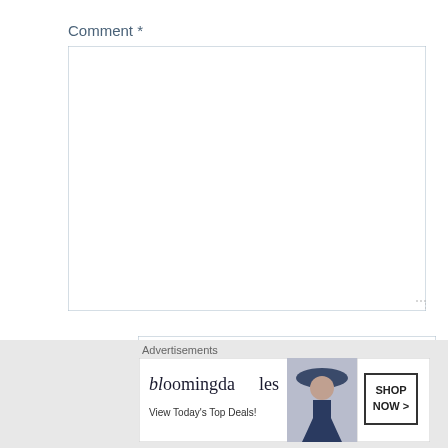Comment *
[Figure (screenshot): Large empty comment text area input box with resize handle]
Name *
[Figure (screenshot): Name text input field]
Email *
[Figure (screenshot): Email text input field]
[Figure (screenshot): Close/dismiss circle X button]
Advertisements
[Figure (screenshot): Bloomingdale's advertisement banner with woman in hat. Text: bloomingdales, View Today's Top Deals!, SHOP NOW >]